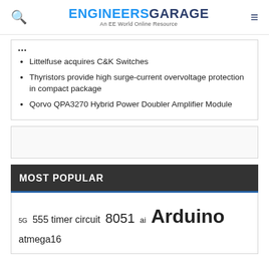ENGINEERSGARAGE — An EE World Online Resource
Littelfuse acquires C&K Switches
Thyristors provide high surge-current overvoltage protection in compact package
Qorvo QPA3270 Hybrid Power Doubler Amplifier Module
MOST POPULAR
5G 555 timer circuit 8051 ai Arduino atmega16